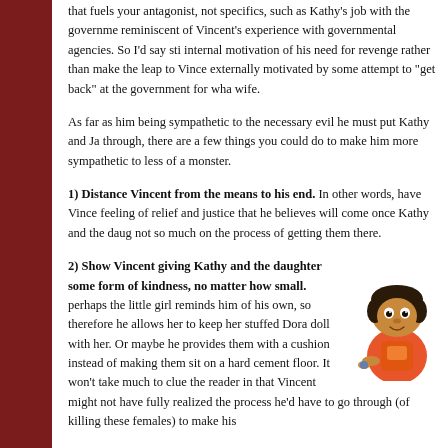that fuels your antagonist, not specifics, such as Kathy's job with the government reminiscent of Vincent's experience with governmental agencies. So I'd say stick to the internal motivation of his need for revenge rather than make the leap to Vincent being externally motivated by some attempt to "get back" at the government for what happened to his wife.
As far as him being sympathetic to the necessary evil he must put Kathy and Ja… through, there are a few things you could do to make him more sympathetic to make him less of a monster.
1) Distance Vincent from the means to his end. In other words, have Vincent focus on the feeling of relief and justice that he believes will come once Kathy and the daughter… not so much on the process of getting them there.
2) Show Vincent giving Kathy and the daughter some form of kindness, no matter how small. perhaps the little girl reminds him of his own, so therefore he allows her to keep her stuffed Dora doll with her. Or maybe he provides them with a cushion instead of making them sit on a hard cement floor. It won't take much to clue the reader in that Vincent might not have fully realized the process he'd have to go through (of killing these females) to make his
[Figure (illustration): A cartoon illustration of a young girl with dark hair, resembling the Dora the Explorer character, wearing colorful clothing.]